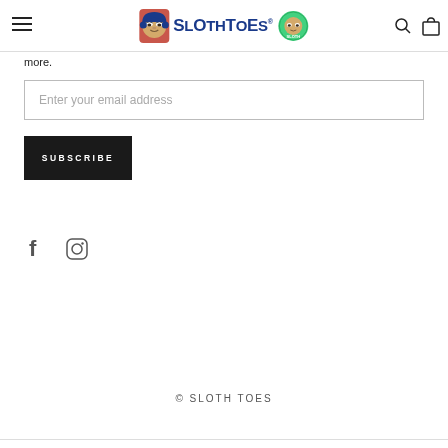SlothToes header with logo, search, and cart icons
more.
Enter your email address
SUBSCRIBE
[Figure (logo): Facebook icon (f)]
[Figure (logo): Instagram icon (circle with camera outline)]
© SLOTH TOES